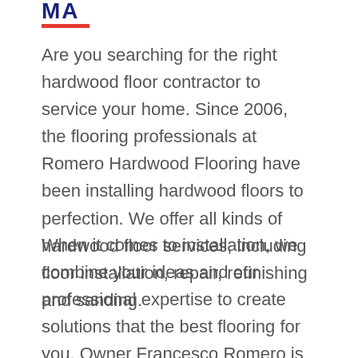[Figure (logo): Partial logo with bold dark blue letters 'MA' and a red underline bar]
Are you searching for the right hardwood floor contractor to service your home. Since 2006, the flooring professionals at Romero Hardwood Flooring have been installing hardwood floors to perfection. We offer all kinds of hardwood floor services, including floor installation, repair, refinishing and sanding.
When it comes to installation, we combine your ideas and our professional expertise to create solutions that the best flooring for you. Owner Francesco Romero is personally involved with every project. With a litany of